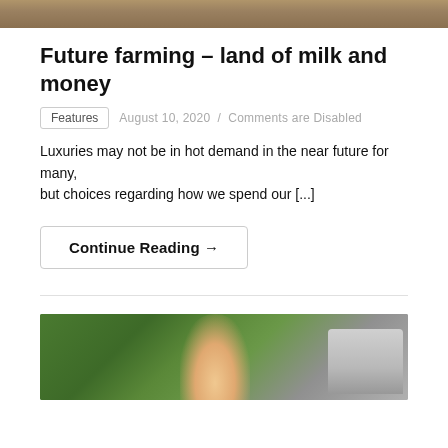[Figure (photo): Partial top image of a person outdoors, cropped to show bottom portion]
Future farming – land of milk and money
Features  August 10, 2020  /  Comments are Disabled
Luxuries may not be in hot demand in the near future for many, but choices regarding how we spend our [...]
Continue Reading →
[Figure (photo): Older man smiling outdoors near trees and a vehicle/truck, bottom portion visible]